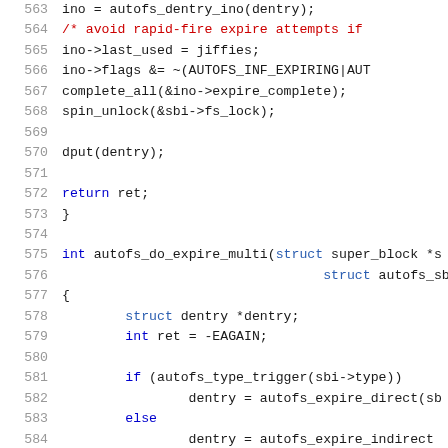[Figure (screenshot): Source code listing in C, lines 563–584, showing autofs kernel module functions with syntax highlighting. Line numbers in gray on left, keywords in blue, comments in red, identifiers in black/dark blue, on white background.]